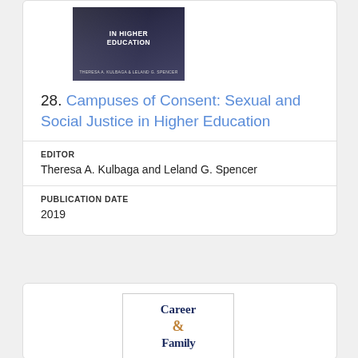[Figure (illustration): Book cover of 'Campuses of Consent: Sexual and Social Justice in Higher Education' by Theresa A. Kulbaga and Leland G. Spencer. Dark navy/grey gradient cover with white bold title text.]
28. Campuses of Consent: Sexual and Social Justice in Higher Education
EDITOR
Theresa A. Kulbaga and Leland G. Spencer
PUBLICATION DATE
2019
[Figure (illustration): Partial book cover showing 'Career & Family' text in navy serif font with an ampersand in gold/orange color.]